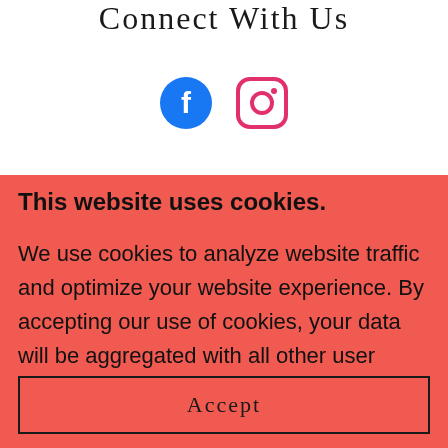Connect With Us
[Figure (illustration): Facebook and Instagram social media icons side by side. Facebook icon is a blue circle with white 'f' letter. Instagram icon is a pink/red rounded square outline with camera symbol.]
This website uses cookies.
We use cookies to analyze website traffic and optimize your website experience. By accepting our use of cookies, your data will be aggregated with all other user data.
Accept